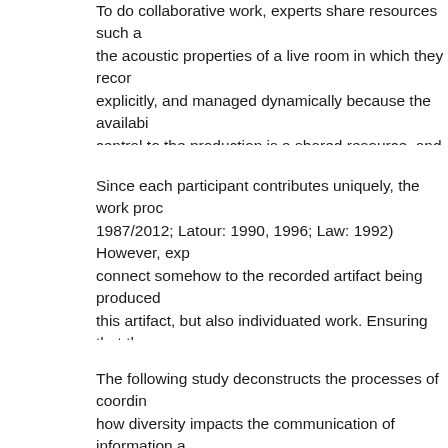To do collaborative work, experts share resources such as the acoustic properties of a live room in which they record explicitly, and managed dynamically because the availability central to the production is a shared resource, and it changes affect what new performances may be meaningfully contributed presents experts with different resources with which to do
Since each participant contributes uniquely, the work produced 1987/2012; Latour: 1990, 1996; Law: 1992) However, experts connect somehow to the recorded artifact being produced this artifact, but also individuated work. Ensuring that these finished mixed recording requires coordination. That organization
The following study deconstructs the processes of coordination how diversity impacts the communication of information across areas of expertise. Similar collaborative processes have been studied in science. These fields have developed a rich set of concepts are set in the frame of music production.